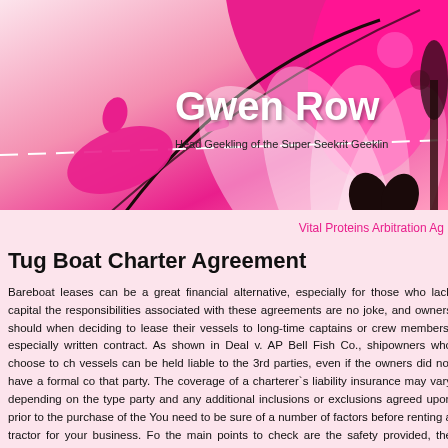[Figure (illustration): Decorative blog header banner with pink and magenta floral/butterfly motifs on a pink gradient background. Text overlay reads 'Gwen Row' (truncated) and 'Head Geekling of the Super Seekrit Geekling' (truncated).]
Vital Proteins Arbitration Ag...
Tug Boat Charter Agreement
Bareboat leases can be a great financial alternative, especially for those who lack capital. the responsibilities associated with these agreements are no joke, and owners should when deciding to lease their vessels to long-time captains or crew members, especially written contract. As shown in Deal v. AP Bell Fish Co., shipowners who choose to ch vessels can be held liable to the 3rd parties, even if the owners did not have a formal co that party. The coverage of a charterer`s liability insurance may vary depending on the type party and any additional inclusions or exclusions agreed upon prior to the purchase of the You need to be sure of a number of factors before renting a tractor for your business. Fo the main points to check are the safety provided, the capacity of the tug and the compar how in terms of operating ports. For example, to double their catch or simply increase the shipowners will unofficially charter one of their ships to a friend, who in turn will hire their (usually a friend) to process the boat. However, after an injury, the injured crew member so that his long-time friend/captain has no financial means to fulfill the necessary mainte...